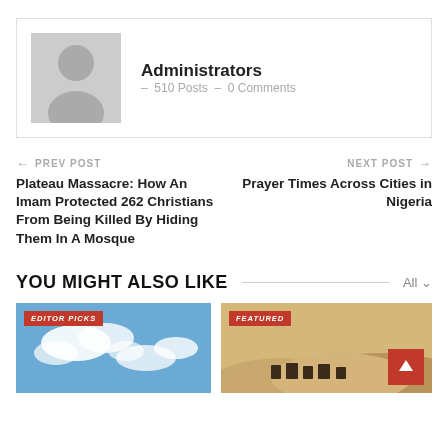[Figure (illustration): Author avatar placeholder with grey background showing generic person silhouette]
Administrators – 510 Posts – 0 Comments
← PREV POST
Plateau Massacre: How An Imam Protected 262 Christians From Being Killed By Hiding Them In A Mosque
NEXT POST →
Prayer Times Across Cities in Nigeria
YOU MIGHT ALSO LIKE
[Figure (photo): Blue sky with white clouds, EDITOR PICKS badge]
[Figure (photo): Desert scene with camels silhouetted, FEATURED badge]